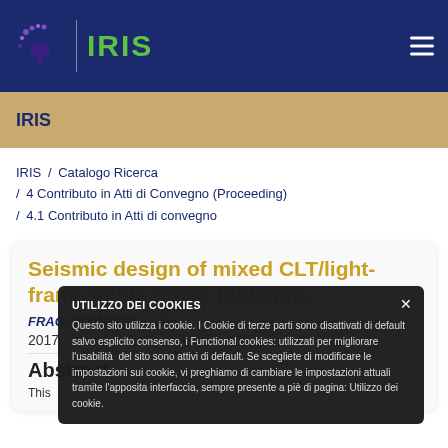[Figure (logo): IRIS logo with eye/brain icon and green IRIS text on dark blue navigation bar]
IRIS
IRIS / Catalogo Ricerca / 4 Contributo in Atti di Convegno (Proceeding) / 4.1 Contributo in Atti di convegno
Seismic design of mixed CLT/light-frame multi-storey buildings
FRAGIACOMO Massimo
2017
Abstract
This ...
UTILIZZO DEI COOKIES
Questo sito utilizza i cookie. I Cookie di terze parti sono disattivati di default salvo esplicito consenso, i Functional cookies: utilizzati per migliorare l'usabilità del sito sono attivi di default. Se scegliete di modificare le impostazioni sui cookie, vi preghiamo di cambiare le impostazioni attuali tramite l'apposita interfaccia, sempre presente a piè di pagina: Utilizzo dei cookie.